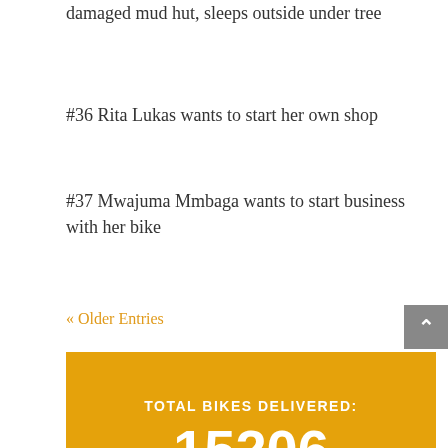damaged mud hut, sleeps outside under tree
#36 Rita Lukas wants to start her own shop
#37 Mwajuma Mmbaga wants to start business with her bike
« Older Entries
TOTAL BIKES DELIVERED: 15206 (As of Dec 3rd 2021)